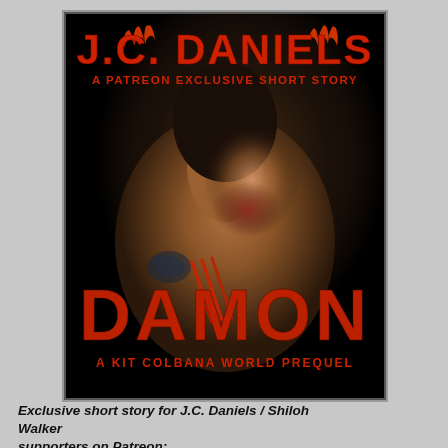[Figure (illustration): Book cover for 'Damon: A Kit Colbana World Prequel' by J.C. Daniels. Dark background showing a muscular figure from behind with claw marks on their back and a bruise/mark on the neck. Red bold author name at top, subtitle 'A Patreon Exclusive Short Story' below, 'DAMON' in large textured red letters at bottom, and 'A Kit Colbana World Prequel' below that.]
Exclusive short story for J.C. Daniels / Shiloh Walker supporters on Patreon: